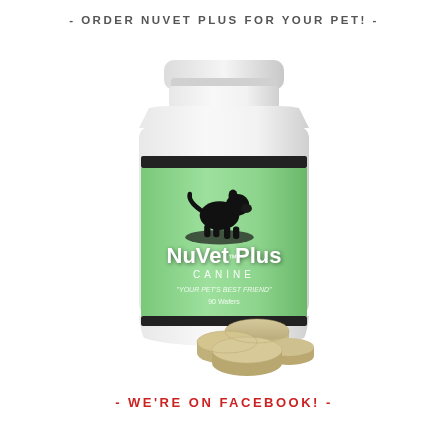- ORDER NUVET PLUS FOR YOUR PET! -
[Figure (photo): A white plastic bottle of NuVet Plus Canine supplement with a green label showing a dog silhouette and the text 'NuVet Plus CANINE - YOUR PET'S BEST FRIEND - 90 Wafers', with several tan/beige supplement wafers/tablets scattered in front of the bottle.]
- WE'RE ON FACEBOOK! -